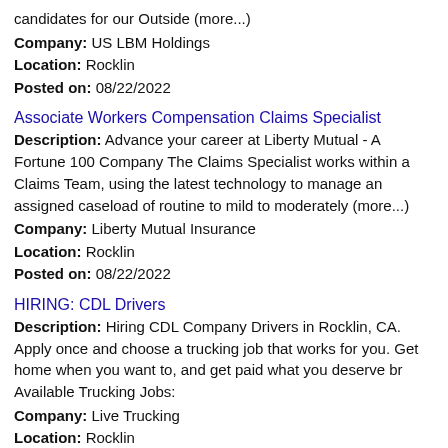candidates for our Outside (more...)
Company: US LBM Holdings
Location: Rocklin
Posted on: 08/22/2022
Associate Workers Compensation Claims Specialist
Description: Advance your career at Liberty Mutual - A Fortune 100 Company The Claims Specialist works within a Claims Team, using the latest technology to manage an assigned caseload of routine to mild to moderately (more...)
Company: Liberty Mutual Insurance
Location: Rocklin
Posted on: 08/22/2022
HIRING: CDL Drivers
Description: Hiring CDL Company Drivers in Rocklin, CA. Apply once and choose a trucking job that works for you. Get home when you want to, and get paid what you deserve br Available Trucking Jobs:
Company: Live Trucking
Location: Rocklin
Posted on: 08/22/2022
School Nurse
Description: School Steps an Invo Company is hiring a Registered